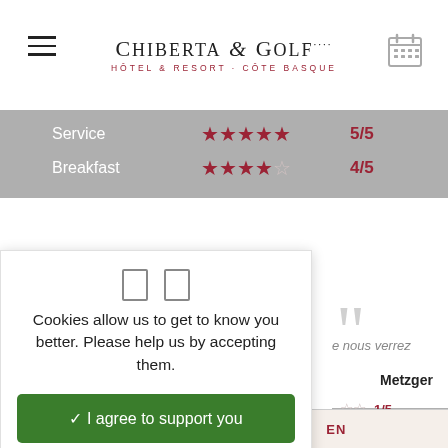Chiberta & Golf — Hôtel & Resort - Côte Basque
| Category | Stars | Score |
| --- | --- | --- |
| Service | ★★★★★ | 5/5 |
| Breakfast | ★★★★☆ | 4/5 |
[Figure (other): Cookie consent icons (two rectangle boxes)]
Cookies allow us to get to know you better. Please help us by accepting them.
✓ I agree to support you
✗ I refuse
Personalize
e nous verrez
Metzger
| Stars | Score |
| --- | --- |
| ☆☆ | 1/5 |
EN